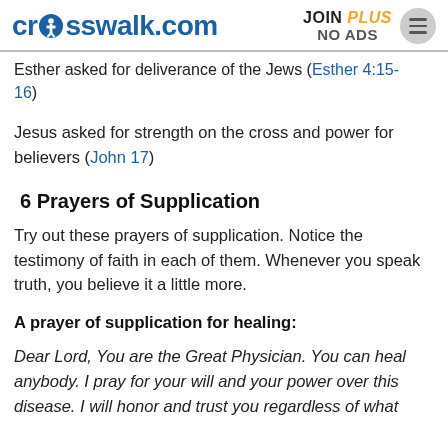crosswalk.com | JOIN PLUS NO ADS
Esther asked for deliverance of the Jews (Esther 4:15-16)
Jesus asked for strength on the cross and power for believers (John 17)
6 Prayers of Supplication
Try out these prayers of supplication. Notice the testimony of faith in each of them. Whenever you speak truth, you believe it a little more.
A prayer of supplication for healing:
Dear Lord, You are the Great Physician. You can heal anybody. I pray for your will and your power over this disease. I will honor and trust you regardless of what